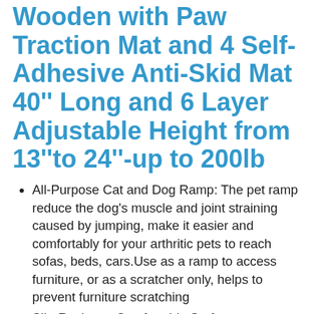Wooden with Paw Traction Mat and 4 Self-Adhesive Anti-Skid Mat 40'' Long and 6 Layer Adjustable Height from 13''to 24''-up to 200lb
All-Purpose Cat and Dog Ramp: The pet ramp reduce the dog's muscle and joint straining caused by jumping, make it easier and comfortably for your arthritic pets to reach sofas, beds, cars.Use as a ramp to access furniture, or as a scratcher only, helps to prevent furniture scratching
Slip-Resistant Comfortable Surface: ...